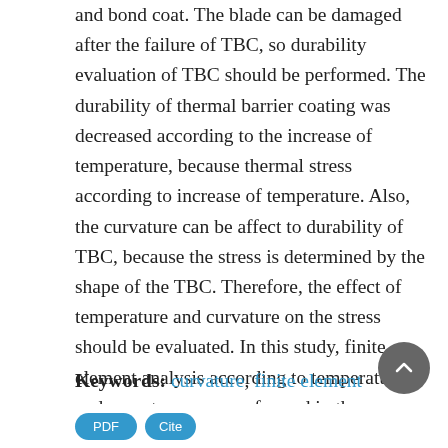and bond coat. The blade can be damaged after the failure of TBC, so durability evaluation of TBC should be performed. The durability of thermal barrier coating was decreased according to the increase of temperature, because thermal stress according to increase of temperature. Also, the curvature can be affect to durability of TBC, because the stress is determined by the shape of the TBC. Therefore, the effect of temperature and curvature on the stress should be evaluated. In this study, finite element analysis according to temperature and curvature were performed in the same condition of Kim et al. Finally, the stress was evaluated from the finite element analysis results according to temperature and curvature.
Keywords: curvature, finite element analysis, thermal barrier coating, thermal fatigue, temperature